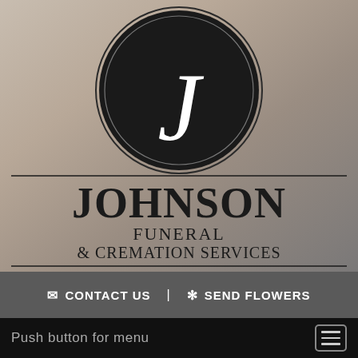[Figure (logo): Johnson Funeral & Cremation Services logo: black circle with italic white J letter, two horizontal divider lines, company name in serif font]
CONTACT US  |  SEND FLOWERS
Push button for menu